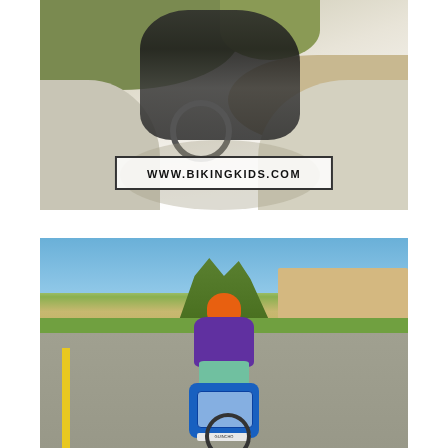[Figure (photo): Aerial/top-down view of a cyclist riding a bicycle on a path, surrounded by dry brush and dirt. A white URL box overlay reads WWW.BIKINGKIDS.COM. The image fades to white at the bottom.]
[Figure (photo): Rear view of a cyclist wearing an orange beanie, purple top, and teal shorts, riding a bicycle with a blue pannier bag on a suburban road with palm trees and buildings in the background.]